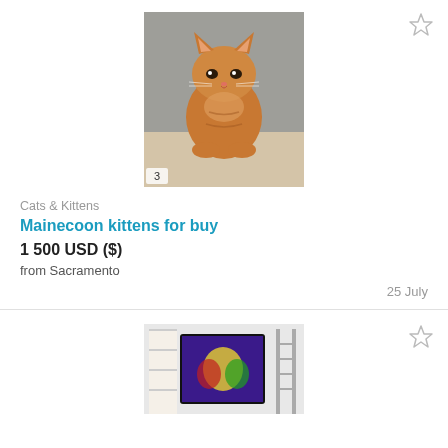[Figure (photo): Photo of an orange Maine Coon kitten sitting on a grey couch, looking at camera. Photo counter badge showing '3' in bottom left corner.]
Cats & Kittens
Mainecoon kittens for buy
1 500 USD ($)
from Sacramento
25 July
[Figure (photo): Partial photo of a room with a TV/monitor showing colorful content, shelves visible in background.]